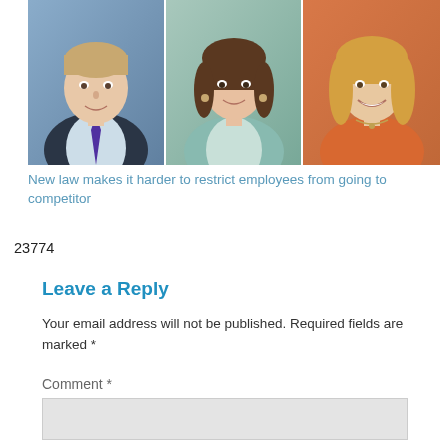[Figure (photo): Three professional headshot photos side by side: a man in a dark suit with purple tie, a woman in a teal/mint blazer with brown hair and earrings, and a woman in an orange top with blonde hair.]
New law makes it harder to restrict employees from going to competitor
23774
Leave a Reply
Your email address will not be published. Required fields are marked *
Comment *